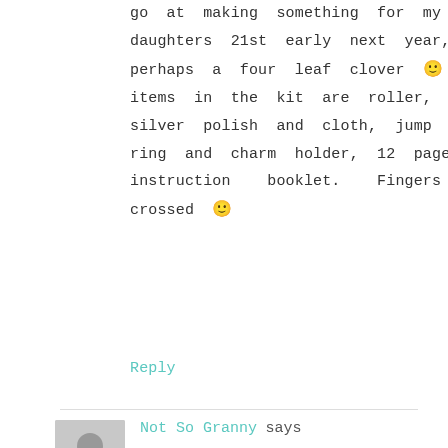go at making something for my daughters 21st early next year, perhaps a four leaf clover 🙂 4 items in the kit are roller, silver polish and cloth, jump ring and charm holder, 12 page instruction booklet. Fingers crossed 🙂
Reply
Not So Granny says
November 18, 2011 at 11:02 am